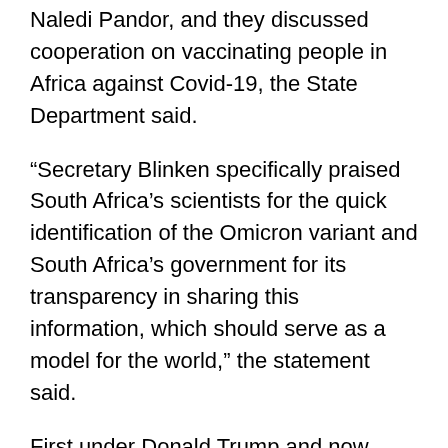Naledi Pandor, and they discussed cooperation on vaccinating people in Africa against Covid-19, the State Department said.
“Secretary Blinken specifically praised South Africa’s scientists for the quick identification of the Omicron variant and South Africa’s government for its transparency in sharing this information, which should serve as a model for the world,” the statement said.
First under Donald Trump and now under President Joe Biden, the United States has repeatedly criticized China for not being forthcoming on the origins of the coronavirus, which was first detected in December 2019 in the Chinese city of Wuhan before spreading around the world. It has now killed nearly 5.2 million people.
In the case of this new variant, US intelligence...